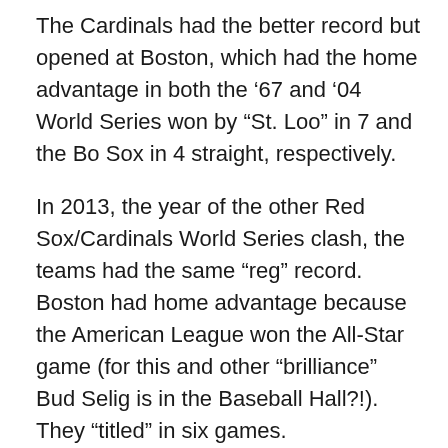The Cardinals had the better record but opened at Boston, which had the home advantage in both the '67 and '04 World Series won by “St. Loo” in 7 and the Bo Sox in 4 straight, respectively.
In 2013, the year of the other Red Sox/Cardinals World Series clash, the teams had the same “reg” record. Boston had home advantage because the American League won the All-Star game (for this and other “brilliance” Bud Selig is in the Baseball Hall?!). They “titled” in six games.
The NHL West Blues had home advantage in their 1970 final vs the Bruins, however the heavily favored and “better record” Bruins won in 4 straight games.
Boston is (7-3) vs St. Louis in final round play; both the Pats and Bruins (1-0) vs the Rams and Blues respectively, the Celtics (2-1) vs the Hawks and the 4 W.S. split, 2